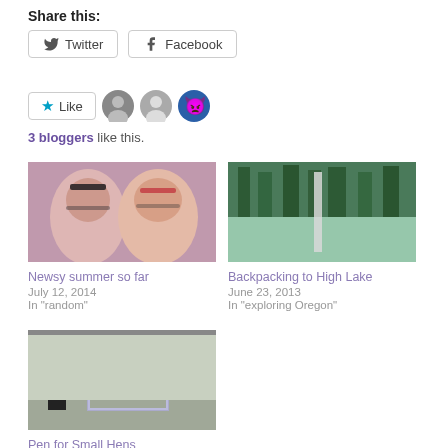Share this:
Twitter  Facebook
Like  [3 blogger avatars]
3 bloggers like this.
[Figure (photo): Two women smiling, one with dark hair and glasses, one with red hair and glasses]
Newsy summer so far
July 12, 2014
In "random"
[Figure (photo): Forest lake reflection with tall trees and a vertical structure]
Backpacking to High Lake
June 23, 2013
In "exploring Oregon"
[Figure (photo): Person standing near a glass or wire frame pen structure in a garage]
Pen for Small Hens